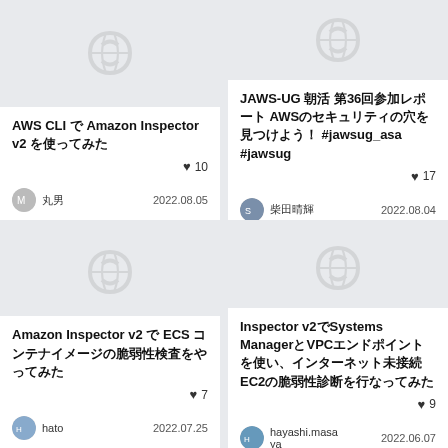[Figure (screenshot): Top-left article card: AWS CLI で Amazon Inspector v2 を使ってみた, likes: 10, author: 丸男, date: 2022.08.05]
[Figure (screenshot): Top-right article card: JAWS-UG 朝活 第36回参加レポート AWSのセキュリティの穴を見つけよう！ #jawsug_asa #jawsug, likes: 17, author: 柴田晴輝, date: 2022.08.04]
[Figure (screenshot): Bottom-left article card: Amazon Inspector v2 で ECS コンテナイメージの脆弱性検査をやってみた, likes: 7, author: hato, date: 2022.07.25]
[Figure (screenshot): Bottom-right article card: Inspector v2でSystems ManagerとVPCエンドポイントを使い、インターネット未接続EC2の脆弱性診断を行なってみた, likes: 9, author: hayashi.masaya, date: 2022.06.07]